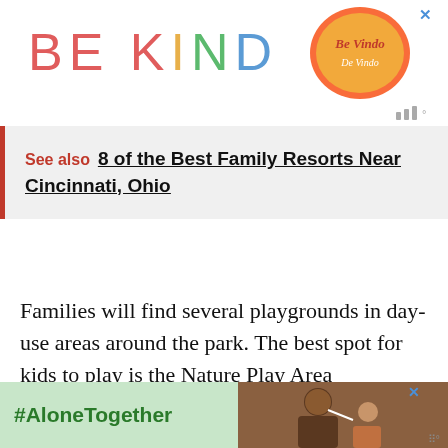[Figure (illustration): Advertisement banner with 'BE KIND' text in colorful letters and a decorative script logo on the right, with a close X button]
[Figure (other): Weather widget icon showing bar graph symbol with degree mark, gray colored]
See also  8 of the Best Family Resorts Near Cincinnati, Ohio
Families will find several playgrounds in day-use areas around the park. The best spot for kids to play is the Nature Play Area
[Figure (photo): Bottom advertisement banner with '#AloneTogether' text in green on light green background, with photo of father and daughter on right side and close X button]